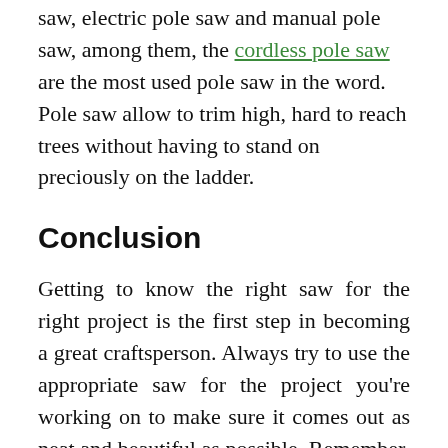saw, electric pole saw and manual pole saw, among them, the cordless pole saw are the most used pole saw in the word. Pole saw allow to trim high, hard to reach trees without having to stand on preciously on the ladder.
Conclusion
Getting to know the right saw for the right project is the first step in becoming a great craftsperson. Always try to use the appropriate saw for the project you're working on to make sure it comes out as neat and beautiful as possible. Remember, there are no wrong saws, just wrong usage.